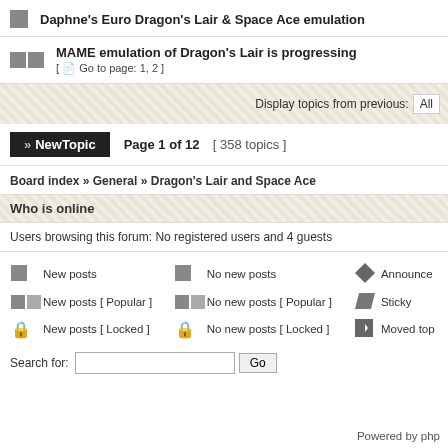Daphne's Euro Dragon's Lair & Space Ace emulation
MAME emulation of Dragon's Lair is progressing [ Go to page: 1, 2 ]
Display topics from previous: All
Page 1 of 12  [ 358 topics ]
Board index » General » Dragon's Lair and Space Ace
Who is online
Users browsing this forum: No registered users and 4 guests
New posts   No new posts   Announce   New posts [ Popular ]   No new posts [ Popular ]   Sticky   New posts [ Locked ]   No new posts [ Locked ]   Moved top
Search for:
Powered by php